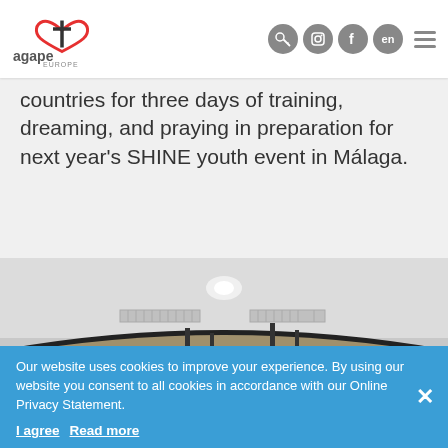Agape Europe - header with logo and navigation icons
countries for three days of training, dreaming, and praying in preparation for next year's SHINE youth event in Málaga.
[Figure (photo): Interior photo showing a room with a curved ceiling, white ceiling with spotlight, walls with vertical slat paneling, and gymnastic or event equipment in the background.]
Our website uses cookies to improve your experience. By using our website you consent to all cookies in accordance with our Online Privacy Statement.
I agree  Read more